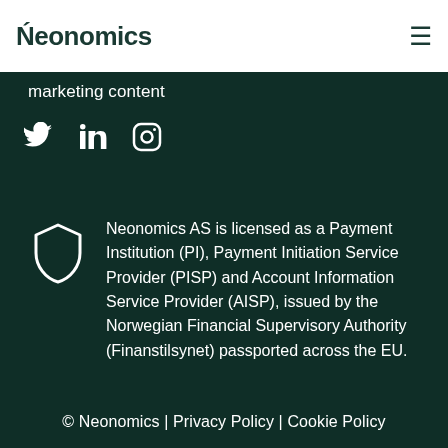Neonomics
marketing content
[Figure (other): Social media icons: Twitter, LinkedIn, Instagram]
Neonomics AS is licensed as a Payment Institution (PI), Payment Initiation Service Provider (PISP) and Account Information Service Provider (AISP), issued by the Norwegian Financial Supervisory Authority (Finanstilsynet) passported across the EU.
© Neonomics | Privacy Policy | Cookie Policy